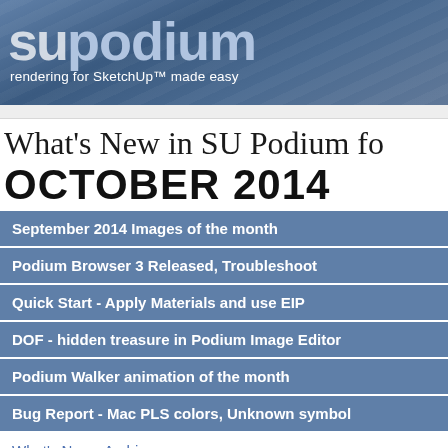supodium — rendering for SketchUp™ made easy
What's New in SU Podium for OCTOBER 2014
September 2014 Images of the month
Podium Browser 3 Released, Troubleshoot
Quick Start - Apply Materials and use EIP
DOF - hidden treasure in Podium Image Editor
Podium Walker animation of the month
Bug Report - Mac PLS colors, Unknown symbol
What's New - Archives